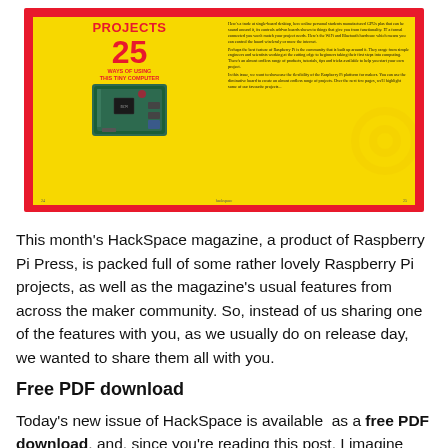[Figure (photo): HackSpace magazine cover showing '25 WAYS OF USING THIS TINY COMPUTER' with a Raspberry Pi board on a yellow background, surrounded by a red border. Magazine spread open showing two pages.]
This month's HackSpace magazine, a product of Raspberry Pi Press, is packed full of some rather lovely Raspberry Pi projects, as well as the magazine's usual features from across the maker community. So, instead of us sharing one of the features with you, as we usually do on release day, we wanted to share them all with you.
Free PDF download
Today's new issue of HackSpace is available  as a free PDF download, and, since you're reading this post, I imagine you're already a Raspberry Pi fan, so it makes sense you'll